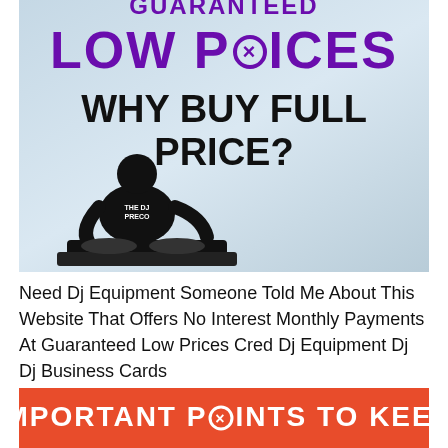[Figure (illustration): Promotional banner with light blue/grey gradient background. Top portion shows text 'GUARANTEED LOW PRICES' in large purple bold letters, 'WHY BUY FULL PRICE?' in large black bold letters, and a silhouette of a DJ at turntables with 'THE DJ PRECO' on shirt.]
Need Dj Equipment Someone Told Me About This Website That Offers No Interest Monthly Payments At Guaranteed Low Prices Cred Dj Equipment Dj Dj Business Cards
[Figure (illustration): Orange/red banner at bottom with white bold text 'IMPORTANT POINTS TO KEEP' with a circle-X icon replacing the 'O' in POINTS.]